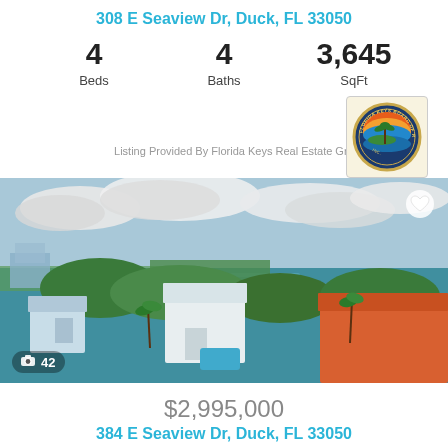308 E Seaview Dr, Duck, FL 33050
4 Beds   4 Baths   3,645 SqFt
Listing Provided By Florida Keys Real Estate Group
[Figure (photo): Aerial view of waterfront neighborhood with tropical vegetation, houses with pools, and ocean/bay in the background. Clear blue sky with clouds.]
42 photos
$2,995,000
384 E Seaview Dr, Duck, FL 33050